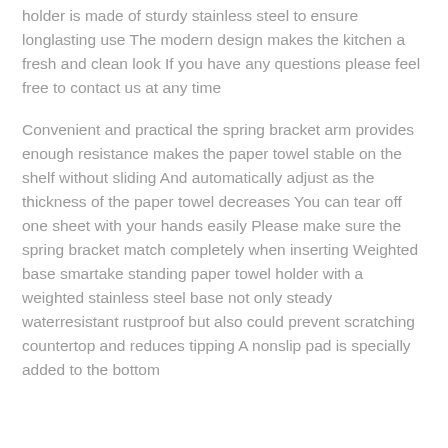holder is made of sturdy stainless steel to ensure longlasting use The modern design makes the kitchen a fresh and clean look If you have any questions please feel free to contact us at any time
Convenient and practical the spring bracket arm provides enough resistance makes the paper towel stable on the shelf without sliding And automatically adjust as the thickness of the paper towel decreases You can tear off one sheet with your hands easily Please make sure the spring bracket match completely when inserting Weighted base smartake standing paper towel holder with a weighted stainless steel base not only steady waterresistant rustproof but also could prevent scratching countertop and reduces tipping A nonslip pad is specially added to the bottom